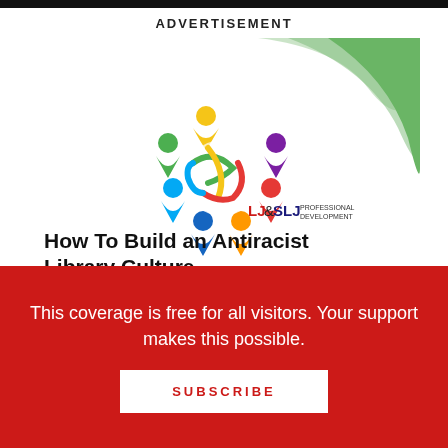ADVERTISEMENT
[Figure (illustration): Advertisement for LJ & SLJ Professional Development event 'How To Build an Antiracist Library Culture'. Features a colorful circular logo of diverse figures, a green wave design on the right, the LJ&SLJ logo, event title in bold dark text, subtitle 'Online Workshop and Guest Speaker Program', dates 'September 28 | October 4 | October 11', and a red 'LEARN MORE' button.]
This coverage is free for all visitors. Your support makes this possible.
SUBSCRIBE